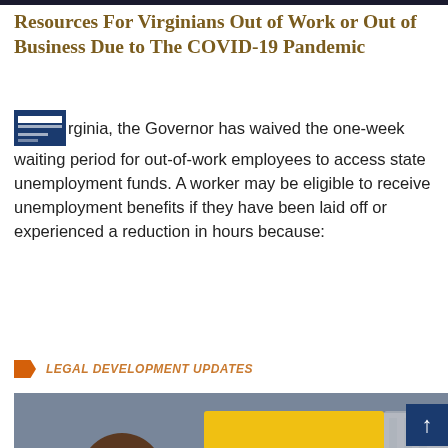Resources For Virginians Out of Work or Out of Business Due to The COVID-19 Pandemic
In Virginia, the Governor has waived the one-week waiting period for out-of-work employees to access state unemployment funds. A worker may be eligible to receive unemployment benefits if they have been laid off or experienced a reduction in hours because:
LEGAL DEVELOPMENT UPDATES
[Figure (photo): Photo of people wearing masks outdoors, with a yellow sign reading ECONOMY visible in the background. A healthcare worker appears to be taking someone's temperature with a forehead thermometer.]